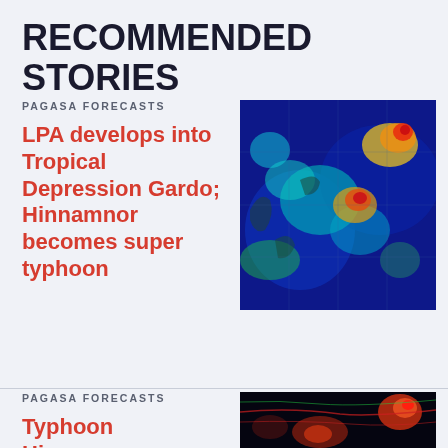RECOMMENDED STORIES
PAGASA FORECASTS
LPA develops into Tropical Depression Gardo; Hinnamnor becomes super typhoon
[Figure (photo): Satellite weather image showing tropical cyclones over the Philippine region with blue ocean background and red/orange/yellow storm systems]
PAGASA FORECASTS
Typhoon Hinnamnor to enter PAR August